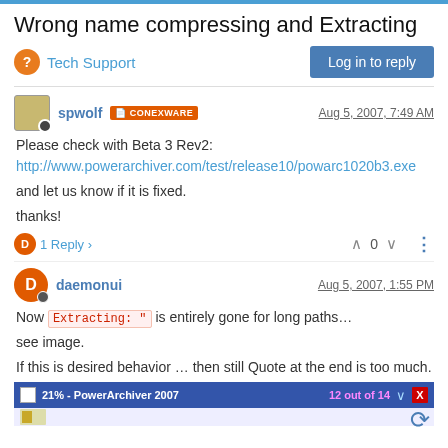Wrong name compressing and Extracting
Tech Support
Log in to reply
spwolf CONEXWARE  Aug 5, 2007, 7:49 AM
Please check with Beta 3 Rev2:
http://www.powerarchiver.com/test/release10/powarc1020b3.exe
and let us know if it is fixed.
thanks!
1 Reply  0
daemonui  Aug 5, 2007, 1:55 PM
Now Extracting: " is entirely gone for long paths…
see image.
If this is desired behavior … then still Quote at the end is too much.
[Figure (screenshot): Screenshot of PowerArchiver 2007 progress bar showing '21% - PowerArchiver 2007' and '12 out of 14']